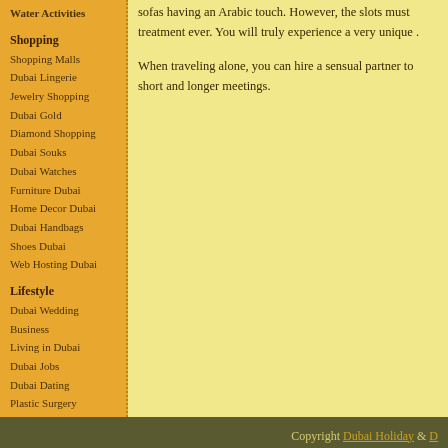Water Activities
Shopping
Shopping Malls
Dubai Lingerie
Jewelry Shopping
Dubai Gold
Diamond Shopping
Dubai Souks
Dubai Watches
Furniture Dubai
Home Decor Dubai
Dubai Handbags
Shoes Dubai
Web Hosting Dubai
Lifestyle
Dubai Wedding
Business
Living in Dubai
Dubai Jobs
Dubai Dating
Plastic Surgery
sofas having an Arabic touch. However, the slots must treatment ever. You will truly experience a very unique .
When traveling alone, you can hire a sensual partner to short and longer meetings.
Copyright Dubai Holiday & D